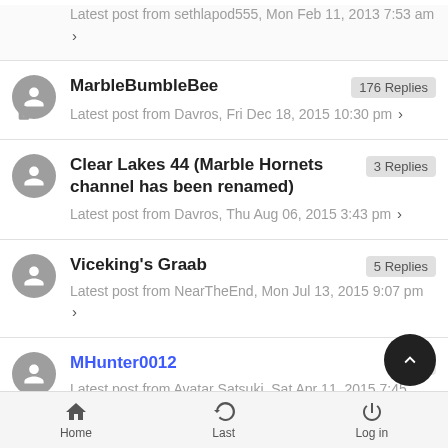Latest post from sethlapod555, Mon Feb 11, 2013 7:53 am ›
MarbleBumbleBee — 176 Replies — Latest post from Davros, Fri Dec 18, 2015 10:30 pm ›
Clear Lakes 44 (Marble Hornets channel has been renamed) — 3 Replies — Latest post from Davros, Thu Aug 06, 2015 3:43 pm ›
Viceking's Graab — 5 Replies — Latest post from NearTheEnd, Mon Jul 13, 2015 9:07 pm ›
MHunter0012 — 63 Replies — Latest post from Avatar Satsuki, Sat Apr 11, 2015 7:45
Home  Last  Log in